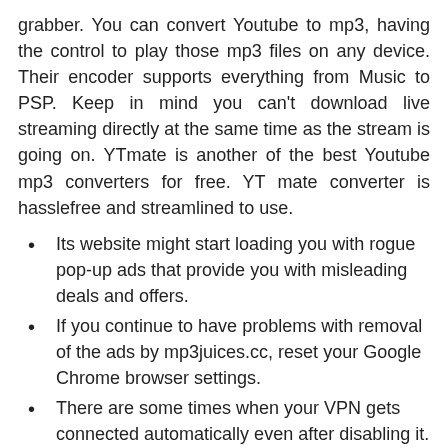grabber. You can convert Youtube to mp3, having the control to play those mp3 files on any device. Their encoder supports everything from Music to PSP. Keep in mind you can't download live streaming directly at the same time as the stream is going on. YTmate is another of the best Youtube mp3 converters for free. YT mate converter is hasslefree and streamlined to use.
Its website might start loading you with rogue pop-up ads that provide you with misleading deals and offers.
If you continue to have problems with removal of the ads by mp3juices.cc, reset your Google Chrome browser settings.
There are some times when your VPN gets connected automatically even after disabling it.
Introduction ePortfolios are a place to demonstrate your work.
Plus, they minimally affect your internet speeds, so you shouldn't experience excessive buffering.
To download a TikTok MP3 without the watermark, just paste the link into the input field and click the “Download” button. By Downloading and Installing Malware Crusher one can easily